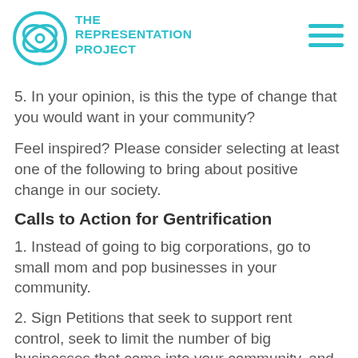THE REPRESENTATION PROJECT
5. In your opinion, is this the type of change that you would want in your community?
Feel inspired? Please consider selecting at least one of the following to bring about positive change in our society.
Calls to Action for Gentrification
1. Instead of going to big corporations, go to small mom and pop businesses in your community.
2. Sign Petitions that seek to support rent control, seek to limit the number of big businesses that come into your community, and seek to support the roots of the community in which you live.